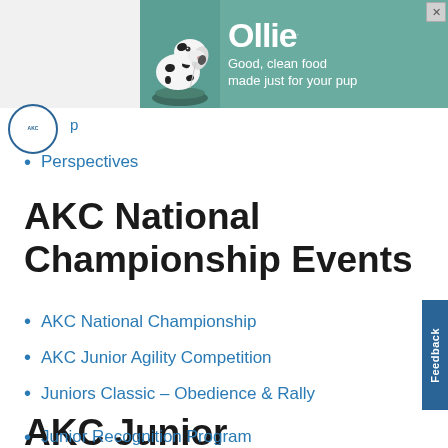[Figure (photo): Advertisement banner for Ollie dog food with a dalmatian eating from a bowl, teal/green background, text reads 'Ollie Good, clean food made just for your pup' with an X close button]
AKC logo circle partial
Perspectives
AKC National Championship Events
AKC National Championship
AKC Junior Agility Competition
Juniors Classic – Obedience & Rally
AKC Junior Recognition Program
Junior Recognition Program